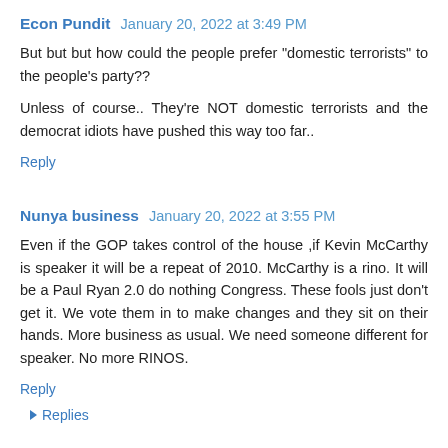Econ Pundit  January 20, 2022 at 3:49 PM
But but but how could the people prefer "domestic terrorists" to the people's party??
Unless of course.. They're NOT domestic terrorists and the democrat idiots have pushed this way too far..
Reply
Nunya business  January 20, 2022 at 3:55 PM
Even if the GOP takes control of the house ,if Kevin McCarthy is speaker it will be a repeat of 2010. McCarthy is a rino. It will be a Paul Ryan 2.0 do nothing Congress. These fools just don't get it. We vote them in to make changes and they sit on their hands. More business as usual. We need someone different for speaker. No more RINOS.
Reply
Replies